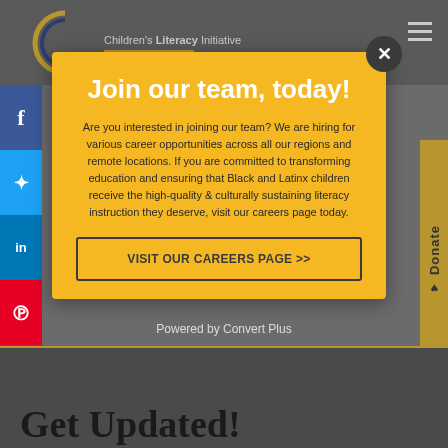[Figure (screenshot): Children's Literacy Initiative logo in top header]
Join our team, today!
Are you interested in joining our team? We are hiring for various career opportunities across all our regions and remote locations. If you are committed to transforming education and ensuring that Black and Latinx children receive the high-quality & culturally sustaining literacy instruction they deserve, visit our careers page today.
VISIT OUR CAREERS PAGE >>
Powered by Convert Plus
Get Updated!